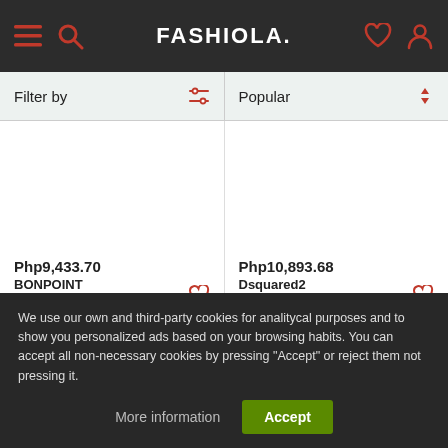FASHIOLA.
Filter by
Popular
Php9,433.70
BONPOINT
Embroidered cashmere c...
Php10,893.68
Dsquared2
Icon logo-print hoodie
We use our own and third-party cookies for analitycal purposes and to show you personalized ads based on your browsing habits. You can accept all non-necessary cookies by pressing "Accept" or reject them not pressing it.
More information
Accept